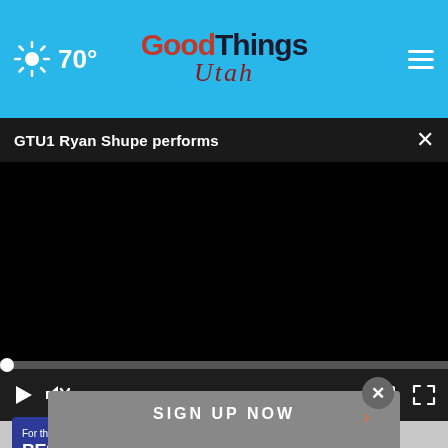Good Things Utah — 70° weather, hamburger menu
GTU1 Ryan Shupe performs
[Figure (screenshot): Black video player area showing paused video with progress bar and playback controls (play, mute, time 00:00, captions, fullscreen)]
[Figure (screenshot): Ad overlay with close button and SIGN UP NOW text with arrow]
[Figure (screenshot): BestReviews advertisement banner: 'For the best reviews, go to BESTREVIEWS' with 'Go Now' button]